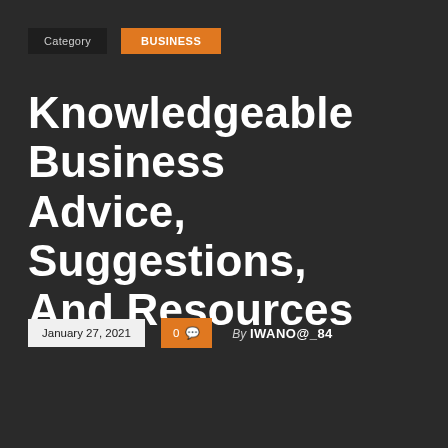Category | BUSINESS
Knowledgeable Business Advice, Suggestions, And Resources
January 27, 2021  0  By IWANO@_84